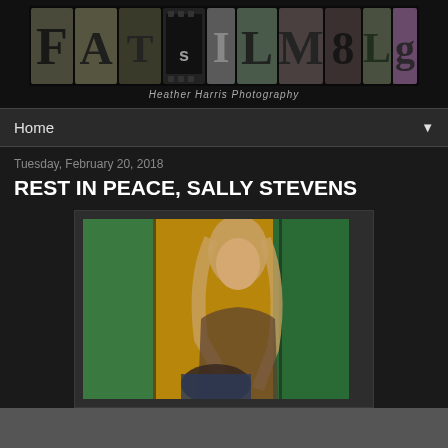[Figure (logo): FASTFILMBLOG logo made of letter tiles/photos on dark background]
Heather Harris Photography
Home ▼
Tuesday, February 20, 2018
REST IN PEACE, SALLY STEVENS
[Figure (photo): Photo of a person with long blonde hair in front of a yellow and green painted background, with another person partially visible below]